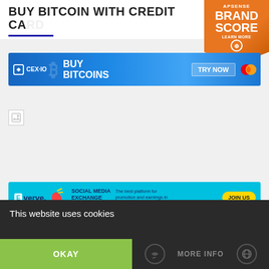BUY BITCOIN WITH CREDIT CA...
[Figure (screenshot): APSense Brand Score badge - orange pentagon shape with text: APSense, BRAND SCORE, LEARN MORE with a magnifier icon]
[Figure (screenshot): CEX.IO banner advertisement: blue background with CEX.IO logo, Bitcoin symbol, BUY BITCOINS text, TRY NOW button, Mastercard logo]
[Figure (screenshot): Broken image placeholder icon (small white box with image broken icon)]
[Figure (screenshot): Everve banner: SOCIAL MEDIA EXCHANGE ON STEROIDS, The best platform for promotion and earnings in social networks, JOIN US yellow button]
This website uses cookies
OKAY
MORE INFO